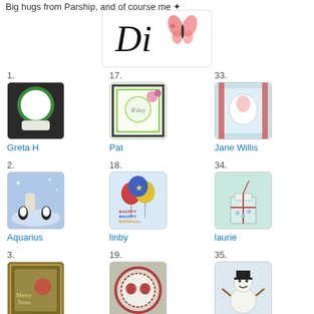Big hugs from Parship, and of course me
[Figure (logo): Di signature logo with cursive Di text and a pink butterfly]
1. Greta H
17. Pat
33. Jane Willis
2. Aquarius
18. linby
34. laurie
3. Janos Journal
19. catherine
35. Charlotte F